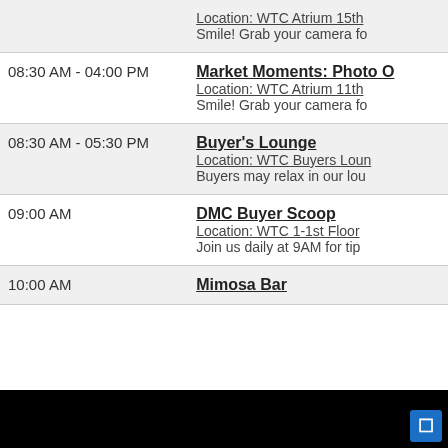| Time | Event |
| --- | --- |
|  | Location: WTC Atrium 15th
Smile! Grab your camera fo |
| 08:30 AM - 04:00 PM | Market Moments: Photo O
Location: WTC Atrium 11th
Smile! Grab your camera fo |
| 08:30 AM - 05:30 PM | Buyer's Lounge
Location: WTC Buyers Loun
Buyers may relax in our lou |
| 09:00 AM | DMC Buyer Scoop
Location: WTC 1-1st Floor
Join us daily at 9AM for tip |
| 10:00 AM | Mimosa Bar |